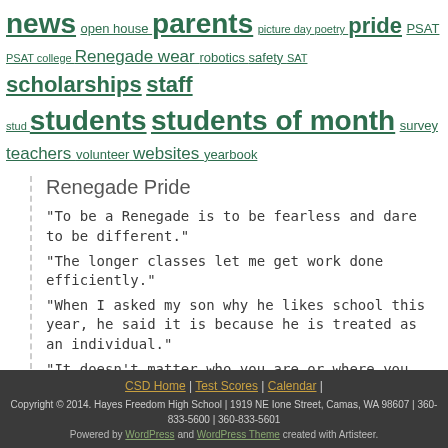news open house parents picture day poetry pride PSAT PSAT college Renegade wear robotics safety SAT scholarships staff stud students students of month survey teachers volunteer websites yearbook
Renegade Pride
"To be a Renegade is to be fearless and dare to be different."
"The longer classes let me get work done efficiently."
"When I asked my son why he likes school this year, he said it is because he is treated as an individual."
"It doesn't matter who you are or where you come from...you will always be welcomed here."
Upcoming Events
CSD Home | Test Scores | Calendar | Copyright © 2014. Hayes Freedom High School | 1919 NE Ione Street, Camas, WA 98607 | 360-833-5600 | 360-833-5601 Powered by WordPress and WordPress Theme created with Artisteer.